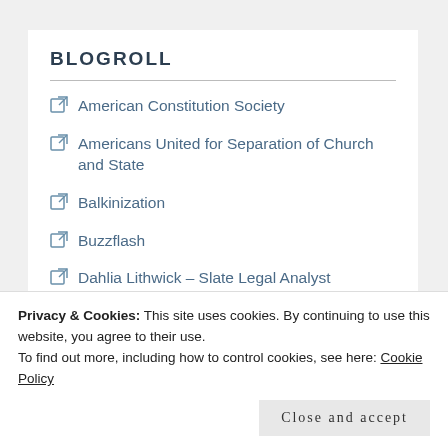BLOGROLL
American Constitution Society
Americans United for Separation of Church and State
Balkinization
Buzzflash
Dahlia Lithwick – Slate Legal Analyst
Firedoglake (partially visible)
Privacy & Cookies: This site uses cookies. By continuing to use this website, you agree to their use. To find out more, including how to control cookies, see here: Cookie Policy
Close and accept